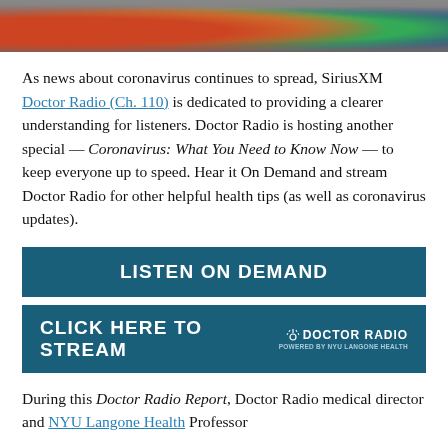[Figure (photo): Cropped photo showing a group of people wearing colorful winter jackets, partially visible at the top of the page.]
As news about coronavirus continues to spread, SiriusXM Doctor Radio (Ch. 110) is dedicated to providing a clearer understanding for listeners. Doctor Radio is hosting another special — Coronavirus: What You Need to Know Now — to keep everyone up to speed. Hear it On Demand and stream Doctor Radio for other helpful health tips (as well as coronavirus updates).
LISTEN ON DEMAND
CLICK HERE TO STREAM  DOCTOR RADIO  POWERED BY NYU LANGONE HEALTH
During this Doctor Radio Report, Doctor Radio medical director and NYU Langone Health Professor